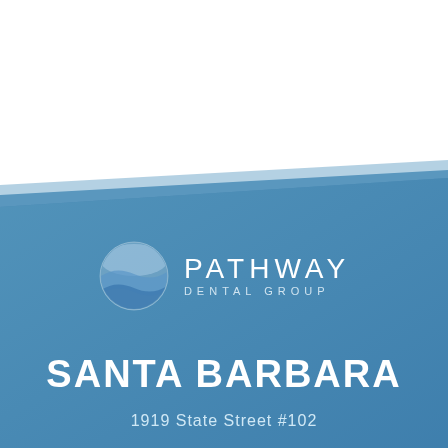[Figure (logo): Pathway Dental Group logo with circular wave icon and text PATHWAY DENTAL GROUP on blue background]
SANTA BARBARA
1919 State Street #102